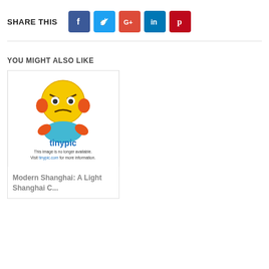SHARE THIS
[Figure (infographic): Social share buttons: Facebook (blue), Twitter (light blue), Google+ (red-orange), LinkedIn (blue), Pinterest (dark red)]
YOU MIGHT ALSO LIKE
[Figure (photo): Tinypic placeholder image: sad emoji face with 'This image is no longer available. Visit tinypic.com for more information.']
Modern Shanghai: A Light Shanghai C...